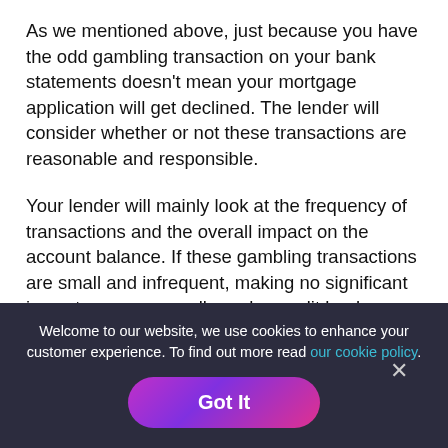As we mentioned above, just because you have the odd gambling transaction on your bank statements doesn't mean your mortgage application will get declined. The lender will consider whether or not these transactions are reasonable and responsible.
Your lender will mainly look at the frequency of transactions and the overall impact on the account balance. If these gambling transactions are small and infrequent, making no significant impact on your overall regular credit bank balance, then they are likely to be overlooked.
On the contrary, if you bet most weeks and are constantly overdrawn, the lender is likely to view this as irresponsible and could decline your application.
Welcome to our website, we use cookies to enhance your customer experience. To find out more read our cookie policy.